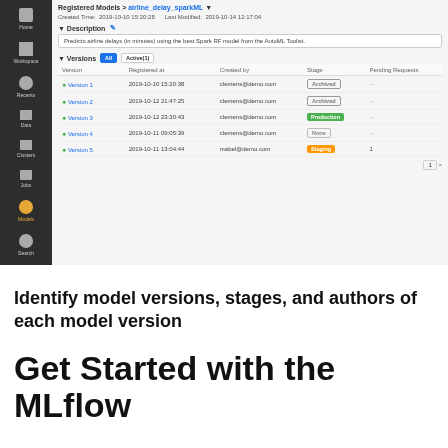[Figure (screenshot): MLflow Registered Models UI screenshot showing model versions table with Version, Registered at, Created by, Stage, and Pending Requests columns. Five versions listed: Version 1 (Archived), Version 2 (Archived), Version 3 (Production), Version 4 (None), Version 5 (Staging, 1 pending request). Left sidebar shows dark navigation with icons for Home, Workspace, Recents, Data, Clusters, Jobs, Models, Search.]
Identify model versions, stages, and authors of each model version
Get Started with the MLflow